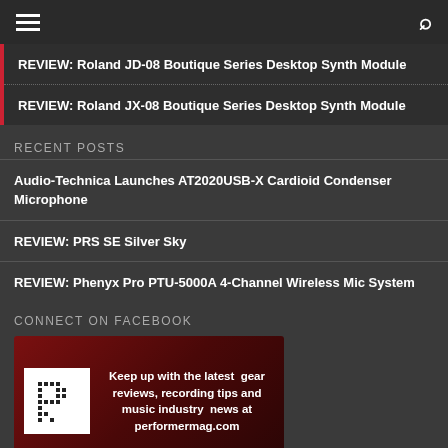Navigation bar with hamburger menu and search icon
REVIEW: Roland JD-08 Boutique Series Desktop Synth Module
REVIEW: Roland JX-08 Boutique Series Desktop Synth Module
RECENT POSTS
Audio-Technica Launches AT2020USB-X Cardioid Condenser Microphone
REVIEW: PRS SE Silver Sky
REVIEW: Phenyx Pro PTU-5000A 4-Channel Wireless Mic System
CONNECT ON FACEBOOK
[Figure (infographic): Facebook Like Page banner with performer magazine logo and text: Keep up with the latest gear reviews, recording tips and music industry news at performermag.com]